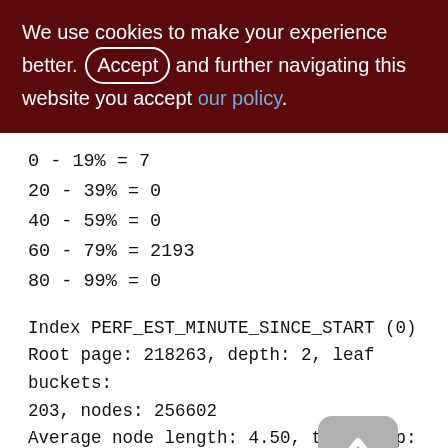We use cookies to make your experience better. By clicking Accept and further navigating this website you accept our policy.
0 - 19% = 7
20 - 39% = 0
40 - 59% = 0
60 - 79% = 2193
80 - 99% = 0
Index PERF_EST_MINUTE_SINCE_START (0)
Root page: 218263, depth: 2, leaf buckets: 203, nodes: 256602
Average node length: 4.50, total dup: 256411, max dup: 2744
Average key length: 2.00, compression